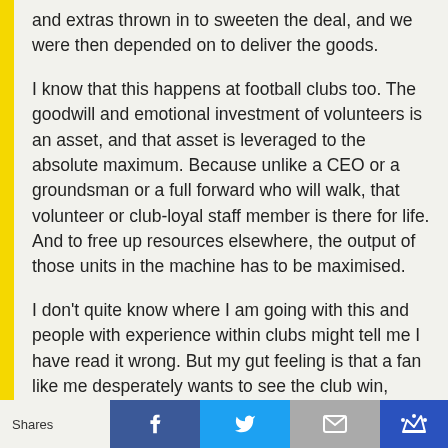and extras thrown in to sweeten the deal, and we were then depended on to deliver the goods.
I know that this happens at football clubs too. The goodwill and emotional investment of volunteers is an asset, and that asset is leveraged to the absolute maximum. Because unlike a CEO or a groundsman or a full forward who will walk, that volunteer or club-loyal staff member is there for life. And to free up resources elsewhere, the output of those units in the machine has to be maximised.
I don’t quite know where I am going with this and people with experience within clubs might tell me I have read it wrong. But my gut feeling is that a fan like me desperately wants to see the club win, while for club people that is really secondary to getting these drink bottles to that school, or these soft tissue injuries logged in that
Shares